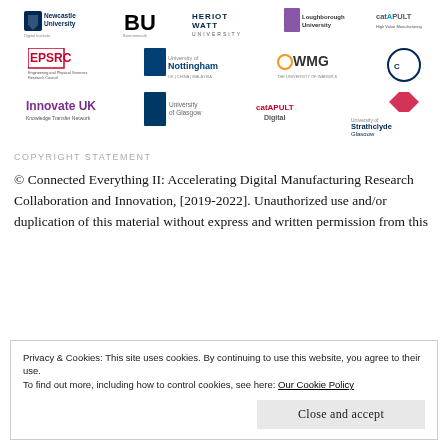[Figure (logo): Row of university and institution logos: Newcastle University Digital Institute, Bournemouth University, Heriot-Watt University, Loughborough University, Catapult High Value Manufacturing]
[Figure (logo): Row of logos: EPSRC, University of Nottingham, WMG The University of Warwick, Cranfield University]
[Figure (logo): Row of logos: Innovate UK Knowledge Transfer Network, University of Glasgow, Catapult Digital, University of Strathclyde Glasgow]
COPYRIGHT STATEMENT
© Connected Everything II: Accelerating Digital Manufacturing Research Collaboration and Innovation, [2019-2022]. Unauthorized use and/or duplication of this material without express and written permission from this
Privacy & Cookies: This site uses cookies. By continuing to use this website, you agree to their use.
To find out more, including how to control cookies, see here: Our Cookie Policy